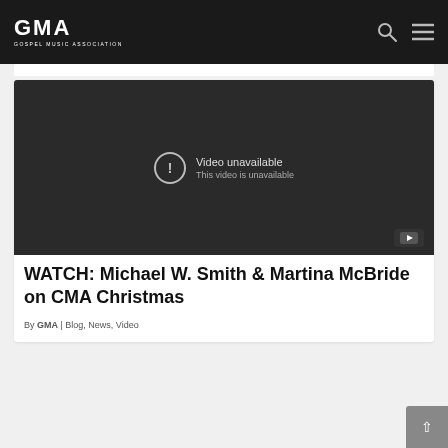GMA | GOSPEL MUSIC ASSOCIATION
[Figure (screenshot): Embedded video player showing 'Video unavailable — This video is unavailable' message with YouTube logo button in bottom-right corner, on a dark background.]
WATCH: Michael W. Smith & Martina McBride on CMA Christmas
By GMA | Blog, News, Video